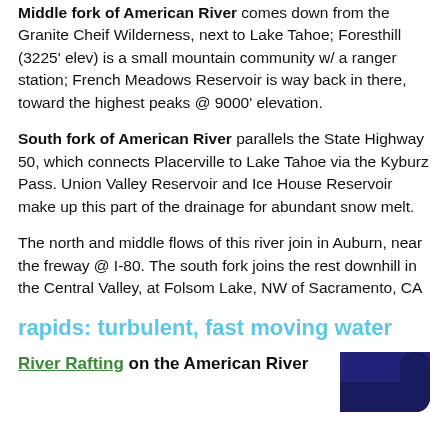Middle fork of American River comes down from the Granite Cheif Wilderness, next to Lake Tahoe; Foresthill (3225' elev) is a small mountain community w/ a ranger station; French Meadows Reservoir is way back in there, toward the highest peaks @ 9000' elevation.
South fork of American River parallels the State Highway 50, which connects Placerville to Lake Tahoe via the Kyburz Pass. Union Valley Reservoir and Ice House Reservoir make up this part of the drainage for abundant snow melt.
The north and middle flows of this river join in Auburn, near the freway @ I-80. The south fork joins the rest downhill in the Central Valley, at Folsom Lake, NW of Sacramento, CA
rapids: turbulent, fast moving water
River Rafting on the American River
[Figure (photo): A partial view of a dark blue rounded rectangle shape, likely a thumbnail image.]